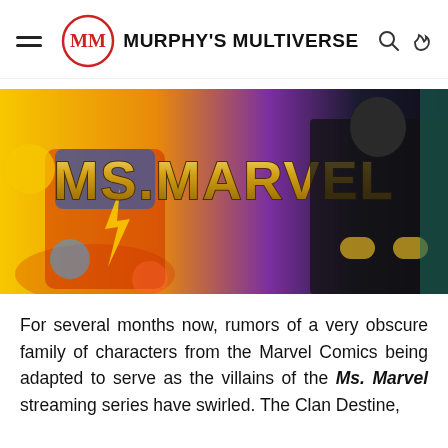Murphy's Multiverse
[Figure (photo): Ms. Marvel promotional banner image showing the character in colorful comic-style artwork with the 'Ms. Marvel' title in gold letters, and a dark-suited figure on the right side.]
For several months now, rumors of a very obscure family of characters from the Marvel Comics being adapted to serve as the villains of the Ms. Marvel streaming series have swirled. The Clan Destine,